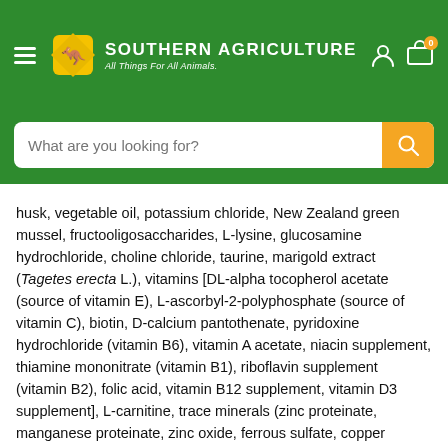[Figure (screenshot): Southern Agriculture website header with green background, hamburger menu icon on left, Southern Agriculture logo (kangaroo in yellow diamond) with tagline 'All Things For All Animals.' in center, and user/cart icons on right]
[Figure (screenshot): Search bar with placeholder text 'What are you looking for?' and orange search button on green background]
husk, vegetable oil, potassium chloride, New Zealand green mussel, fructooligosaccharides, L-lysine, glucosamine hydrochloride, choline chloride, taurine, marigold extract (Tagetes erecta L.), vitamins [DL-alpha tocopherol acetate (source of vitamin E), L-ascorbyl-2-polyphosphate (source of vitamin C), biotin, D-calcium pantothenate, pyridoxine hydrochloride (vitamin B6), vitamin A acetate, niacin supplement, thiamine mononitrate (vitamin B1), riboflavin supplement (vitamin B2), folic acid, vitamin B12 supplement, vitamin D3 supplement], L-carnitine, trace minerals (zinc proteinate, manganese proteinate, zinc oxide, ferrous sulfate, copper proteinate, copper sulfate, manganous oxide, calcium iodate, sodium selenite), chondroitin sulfate, rosemary extract, preserved with natural mixed tocopherols and citric acid.